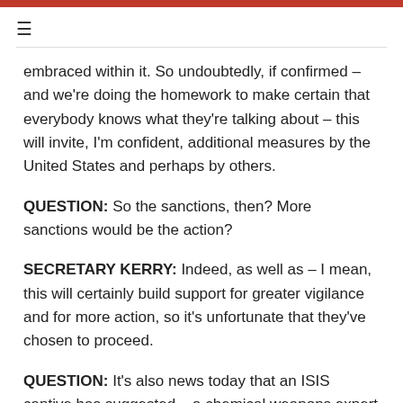≡
embraced within it. So undoubtedly, if confirmed – and we're doing the homework to make certain that everybody knows what they're talking about – this will invite, I'm confident, additional measures by the United States and perhaps by others.
QUESTION: So the sanctions, then? More sanctions would be the action?
SECRETARY KERRY: Indeed, as well as – I mean, this will certainly build support for greater vigilance and for more action, so it's unfortunate that they've chosen to proceed.
QUESTION: It's also news today that an ISIS captive has suggested – a chemical weapons expert – that mustard